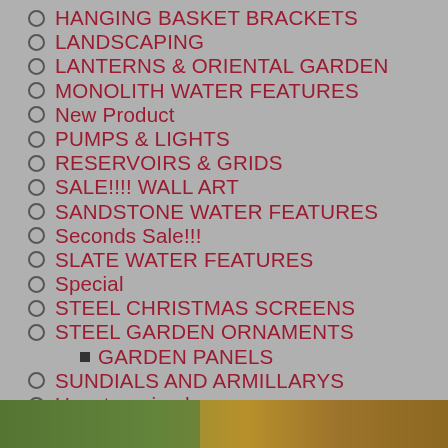HANGING BASKET BRACKETS
LANDSCAPING
LANTERNS & ORIENTAL GARDEN
MONOLITH WATER FEATURES
New Product
PUMPS & LIGHTS
RESERVOIRS & GRIDS
SALE!!!! WALL ART
SANDSTONE WATER FEATURES
Seconds Sale!!!
SLATE WATER FEATURES
Special
STEEL CHRISTMAS SCREENS
STEEL GARDEN ORNAMENTS
GARDEN PANELS
SUNDIALS AND ARMILLARYS
Uncategorized
WATERFALL BLADES
[Figure (photo): Photo strip at bottom of page showing garden/outdoor scenery]